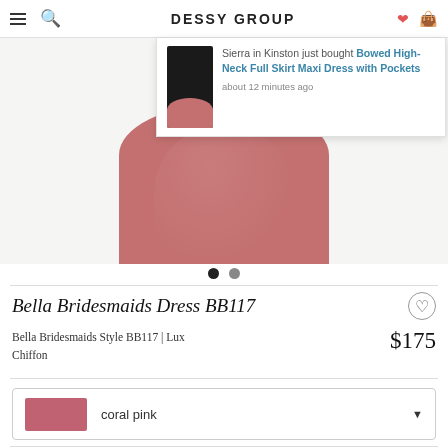DESSY GROUP
[Figure (screenshot): Notification popup showing a woman in a black top and coral/dusty rose full skirt maxi dress. Text reads: Sierra in Kinston just bought Bowed High-Neck Full Skirt Maxi Dress with Pockets, about 12 minutes ago]
[Figure (photo): Product image showing a coral pink / dusty rose full skirt of a maxi bridesmaid dress against a light grey background, with two dot navigation indicators below]
Bella Bridesmaids Dress BB117
Bella Bridesmaids Style BB117 | Lux Chiffon
$175
coral pink